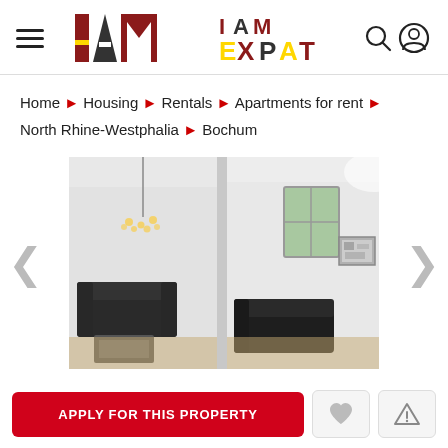I AM EXPAT — navigation header with hamburger menu and search/profile icons
Home ▶ Housing ▶ Rentals ▶ Apartments for rent ▶ North Rhine-Westphalia ▶ Bochum
[Figure (photo): Interior photo of an apartment living room in Bochum showing two areas: left side with a chandelier light fixture and dark leather sofa, right side with a window, framed artwork, and dark leather seating on wood-effect flooring]
APPLY FOR THIS PROPERTY